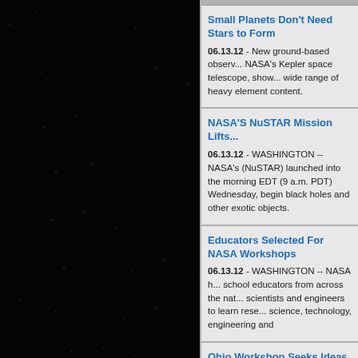[Figure (photo): Dark night sky with scattered stars, black background]
Small Planets Don't Need Stars to Form
06.13.12 - New ground-based observ... NASA's Kepler space telescope, show... wide range of heavy element content.
NASA'S NuSTAR Mission Lifts...
06.13.12 - WASHINGTON -- NASA's (NuSTAR) launched into the morning EDT (9 a.m. PDT) Wednesday, begin black holes and other exotic objects.
Educators Selected For NASA Workshops
06.13.12 - WASHINGTON -- NASA h... school educators from across the nat... scientists and engineers to learn rese... science, technology, engineering and
Ohio Workshop Seeks Ideas F... Network
06.12.12 - NASA and the National Ins... are sponsoring the second in a series ideas and suggestions on the design Manufacturing Innovation (NNMI).